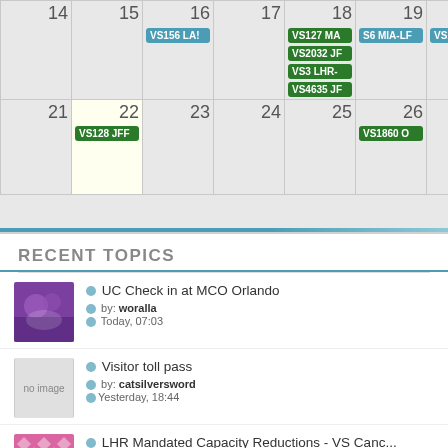[Figure (other): Calendar grid partial view showing weeks of 14-20 and 21-27. Events shown: VS156 LA! (teal) on 16; VS127 MA (green), VS2032 JF (green), VS3 LHR- (green), VS4635 JF (green) on 18; S6 MIA-LF (teal) on 19; VS156 LA! (teal) on 20; VS128 JF (green) on 22; VS1860 O (green) on 26.]
RECENT TOPICS
UC Check in at MCO Orlando | by: woralla | Today, 07:03
Visitor toll pass | by: catsilversword | Yesterday, 18:44
LHR Mandated Capacity Reductions - VS Canc... | by: steve7612 | Yesterday, 15:44